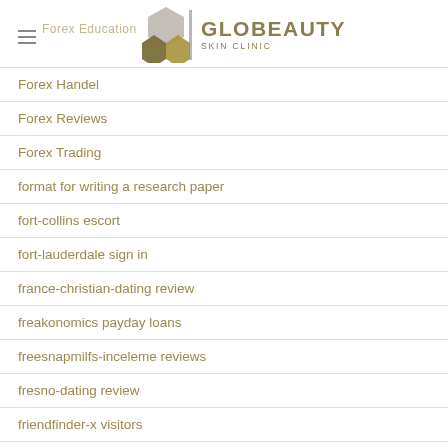Globeauty Skin Clinic
Forex Handel
Forex Reviews
Forex Trading
format for writing a research paper
fort-collins escort
fort-lauderdale sign in
france-christian-dating review
freakonomics payday loans
freesnapmilfs-inceleme reviews
fresno-dating review
friendfinder-x visitors